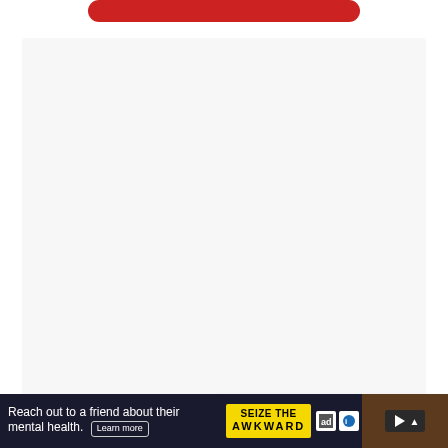[Figure (screenshot): Red rounded button/bar at top of page]
[Figure (screenshot): Large light gray content area taking up majority of the page]
[Figure (infographic): Blue heart like button, count of 1, and share button on right side]
[Figure (screenshot): WHAT'S NEXT card with thumbnail showing '15 Best Hair Serum For...']
[Figure (screenshot): Advertisement banner: 'Reach out to a friend about their mental health. Learn more' with SEIZE THE AWKWARD branding and logos]